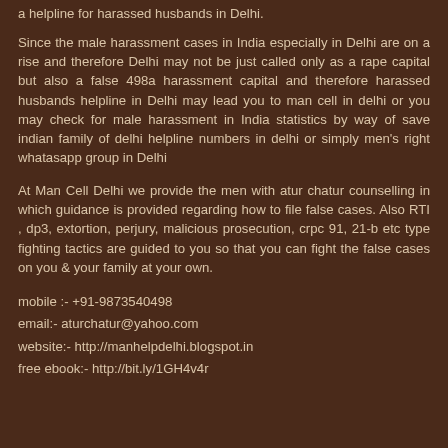a helpline for harassed husbands in Delhi.
Since the male harassment cases in India especially in Delhi are on a rise and therefore Delhi may not be just called only as a rape capital but also a false 498a harassment capital and therefore harassed husbands helpline in Delhi may lead you to man cell in delhi or you may check for male harassment in India statistics by way of save indian family of delhi helpline numbers in delhi or simply men's right whatasapp group in Delhi
At Man Cell Delhi we provide the men with atur chatur counselling in which guidance is provided regarding how to file false cases. Also RTI , dp3, extortion, perjury, malicious prosecution, crpc 91, 21-b etc type fighting tactics are guided to you so that you can fight the false cases on you & your family at your own.
mobile :- +91-9873540498
email:- aturchatur@yahoo.com
website:- http://manhelpdelhi.blogspot.in
free ebook:- http://bit.ly/1GH4v4r